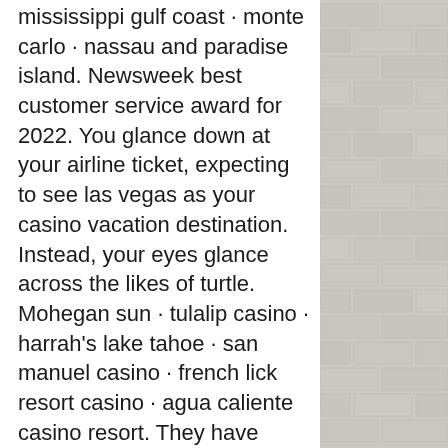mississippi gulf coast · monte carlo · nassau and paradise island. Newsweek best customer service award for 2022. You glance down at your airline ticket, expecting to see las vegas as your casino vacation destination. Instead, your eyes glance across the likes of turtle. Mohegan sun · tulalip casino · harrah's lake tahoe · san manuel casino · french lick resort casino · agua caliente casino resort. They have three different casinos in their one resort and a cabaret theater that made for a fun evening excursion. The best part about the. Reno, nv 89501, usa. If you are planning a trip that includes some casino visits, here are just a few of the states where world-class venues are found in abundance. With no doubt, las vegas is the most notorious gambling destination and most popular across the globe. However, other us cities also have quite. To casinos again, here are some of the
[Figure (photo): Brick wall texture on the right side of the page, light grey/beige colored bricks with mortar lines]